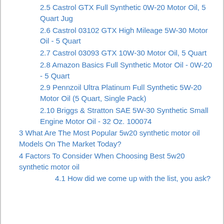2.5 Castrol GTX Full Synthetic 0W-20 Motor Oil, 5 Quart Jug
2.6 Castrol 03102 GTX High Mileage 5W-30 Motor Oil - 5 Quart
2.7 Castrol 03093 GTX 10W-30 Motor Oil, 5 Quart
2.8 Amazon Basics Full Synthetic Motor Oil - 0W-20 - 5 Quart
2.9 Pennzoil Ultra Platinum Full Synthetic 5W-20 Motor Oil (5 Quart, Single Pack)
2.10 Briggs & Stratton SAE 5W-30 Synthetic Small Engine Motor Oil - 32 Oz. 100074
3 What Are The Most Popular 5w20 synthetic motor oil Models On The Market Today?
4 Factors To Consider When Choosing Best 5w20 synthetic motor oil
4.1 How did we come up with the list, you ask?